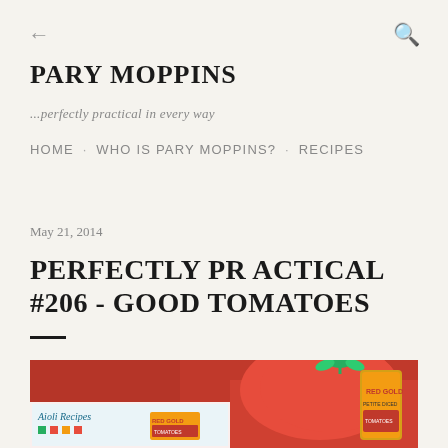← PARY MOPPINS
...perfectly practical in every way
HOME · WHO IS PARY MOPPINS? · RECIPES
May 21, 2014
PERFECTLY PRACTICAL #206 - GOOD TOMATOES
[Figure (photo): Photo of red tomatoes and Red Gold canned/boxed tomato products on a red cloth background, with an Aioli Recipes booklet visible]